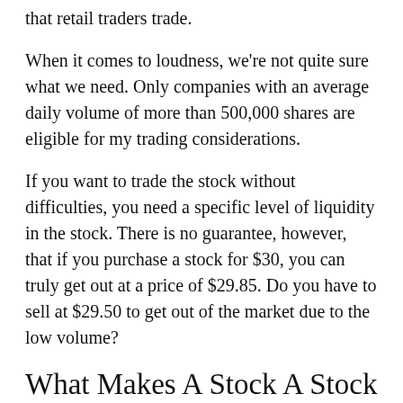that retail traders trade.
When it comes to loudness, we're not quite sure what we need. Only companies with an average daily volume of more than 500,000 shares are eligible for my trading considerations.
If you want to trade the stock without difficulties, you need a specific level of liquidity in the stock. There is no guarantee, however, that if you purchase a stock for $30, you can truly get out at a price of $29.85. Do you have to sell at $29.50 to get out of the market due to the low volume?
What Makes A Stock A Stock In Play
This is not a smart stock to trade intraday if you have to sell at about $29.85, due to...